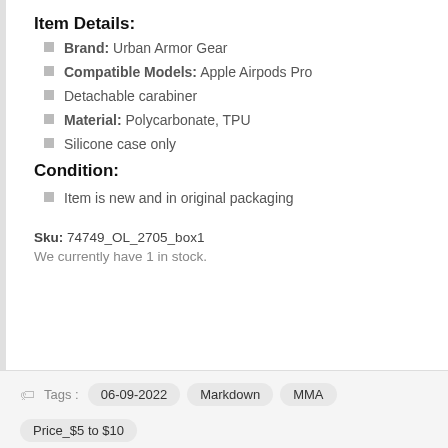Item Details:
Brand: Urban Armor Gear
Compatible Models: Apple Airpods Pro
Detachable carabiner
Material: Polycarbonate, TPU
Silicone case only
Condition:
Item is new and in original packaging
Sku: 74749_OL_2705_box1
We currently have 1 in stock.
Tags : 06-09-2022  Markdown  MMA  Price_$5 to $10